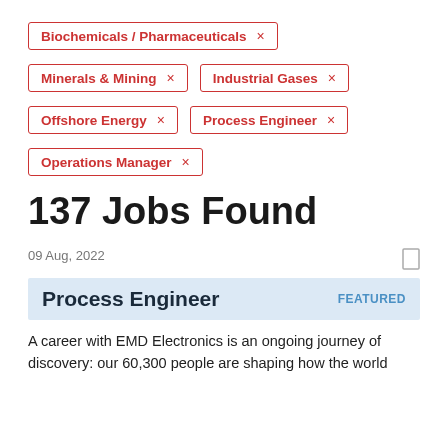Biochemicals / Pharmaceuticals ×
Minerals & Mining ×
Industrial Gases ×
Offshore Energy ×
Process Engineer ×
Operations Manager ×
137 Jobs Found
09 Aug, 2022
Process Engineer
FEATURED
A career with EMD Electronics is an ongoing journey of discovery: our 60,300 people are shaping how the world